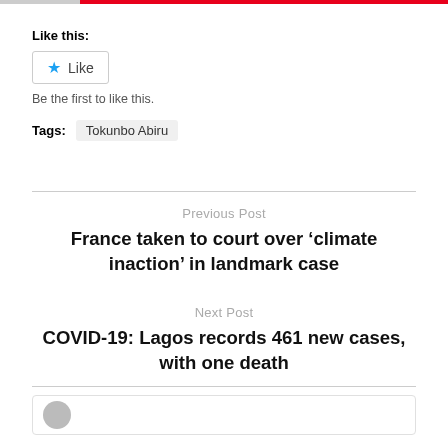Like this:
Like
Be the first to like this.
Tags:  Tokunbo Abiru
Previous Post
France taken to court over ‘climate inaction’ in landmark case
Next Post
COVID-19: Lagos records 461 new cases, with one death